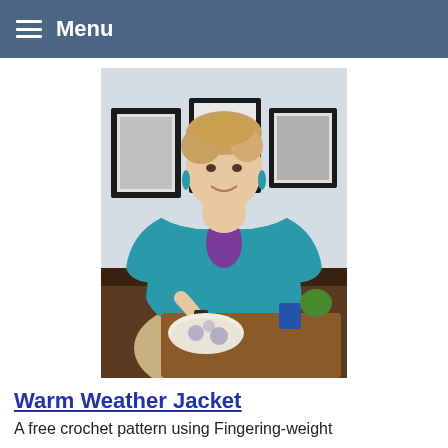Menu
[Figure (photo): Woman smiling, wearing a teal/turquoise crocheted open-weave cardigan jacket over a purple top, with teal earrings, standing in front of framed artwork on a wall]
Warm Weather Jacket
A free crochet pattern using Fingering-weight